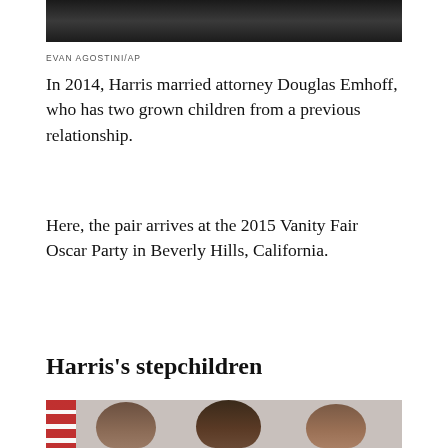[Figure (photo): Top portion of a photo showing a person in dark clothing, cropped at the top of the page]
EVAN AGOSTINI/AP
In 2014, Harris married attorney Douglas Emhoff, who has two grown children from a previous relationship.
Here, the pair arrives at the 2015 Vanity Fair Oscar Party in Beverly Hills, California.
Harris's stepchildren
[Figure (photo): Bottom portion of a photo showing three people standing together, partially cropped at the bottom of the page, with an American flag visible on the left]